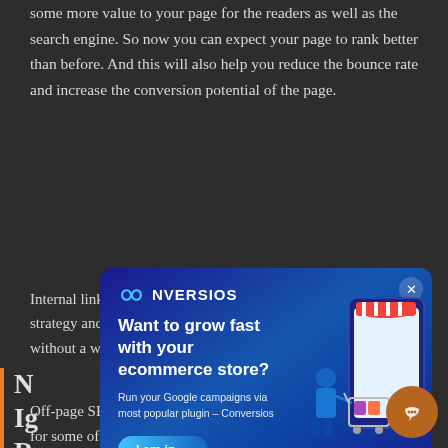some more value to your page for the readers as well as the search engine. So now you can expect your page to rank better than before. And this will also help you reduce the bounce rate and increase the conversion potential of the page.
N...
Ig...
R...
[Figure (screenshot): Conversios popup advertisement. Dark blue gradient background with logo 'CONVERSIOS' at top left featuring infinity-like icon. Headline: 'Want to grow fast with your ecommerce store?' Subtext: 'Run your Google campaigns via most popular plugin – Conversios'. Blue 'I am in »' button. Right side shows illustration of woman with shopping cart next to a large mobile phone with striped awning. Close X button in top right corner.]
Internal linking is the foundation of your on-page SEO strategy and you cannot expect a significant SEO success without a well-defined site structure.
Off-page SEO and backlinking will help you draw hi...
equity for some of your pages, but you will ha...